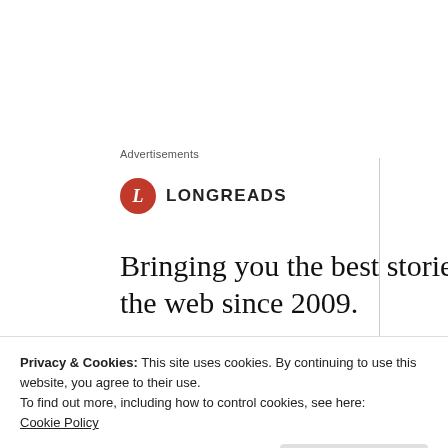Advertisements
[Figure (logo): Longreads logo: red circle with italic white L, followed by LONGREADS in bold sans-serif caps]
Bringing you the best stories on the web since 2009.
The Lobby Hotel V Frederikslein
Privacy & Cookies: This site uses cookies. By continuing to use this website, you agree to their use.
To find out more, including how to control cookies, see here:
Cookie Policy
Close and accept
were vegan options, and the lovely manager